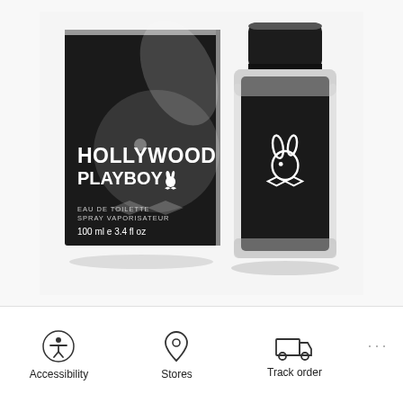[Figure (photo): Playboy Hollywood Eau de Toilette product photo showing black box with Playboy bunny logo and text 'HOLLYWOOD PLAYBOY', 'EAU DE TOILETTE SPRAY VAPORISATEUR', '100 ml e 3.4 fl oz', alongside a square black glass bottle with chrome Playboy bunny logo and cylindrical black cap]
Accessibility
Stores
Track order